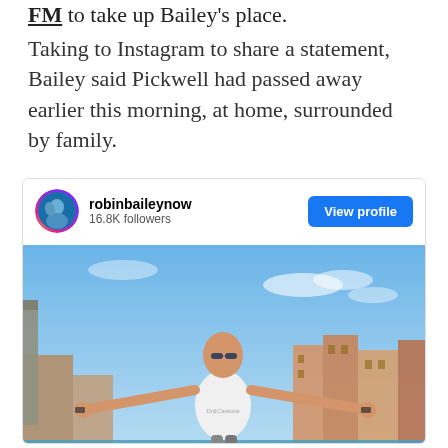FM to take up Bailey's place.
Taking to Instagram to share a statement, Bailey said Pickwell had passed away earlier this morning, at home, surrounded by family.
[Figure (screenshot): Instagram profile card for robinbaileynow with 16.8K followers showing a man with arms outstretched on a rooftop overlooking Venice canal]